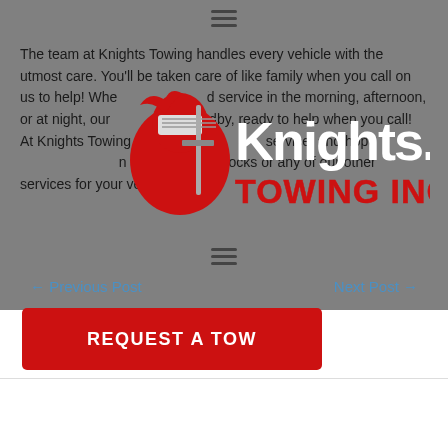The team at Knights Towing handles every vehicle with the utmost care. You'll be taken care of like family when you call on us to help! Whether you need service in the morning, afternoon, or at night, our team is on standby, ready to help when you call! At Knights Towing we strive for excellent service, and hope to hear from you when in need of Car Unlocks or any of our other services for your vehi
[Figure (logo): Knights Towing Inc. logo with knight mascot in red and white, with 'Knights.' in white bold text and 'TOWING INC.' in red bold text]
← Previous Post
Next Post →
REQUEST A TOW
Leave a Comment
Your email address will not be published. Required fields are marked *